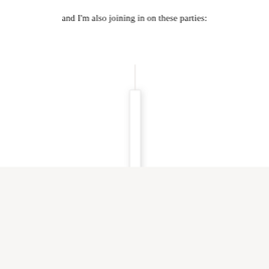and I'm also joining in on these parties:
[Figure (illustration): A single white candle with a thin flame-shaped top and a small base, centered on the page, casting a subtle shadow. Below is a light beige/off-white rectangular band at the bottom of the page.]